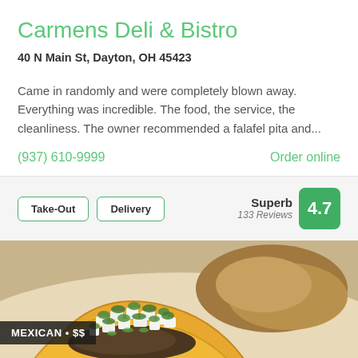Carmens Deli & Bistro
40 N Main St, Dayton, OH 45423
Came in randomly and were completely blown away. Everything was incredible. The food, the service, the cleanliness. The owner recommended a falafel pita and...
(937) 610-9999
Order online
Take-Out
Delivery
Superb
133 Reviews
4.7
[Figure (photo): Photo of Mexican tacos on a plate with refried beans, topped with diced onions and cilantro. Overlay label reads MEXICAN • $$]